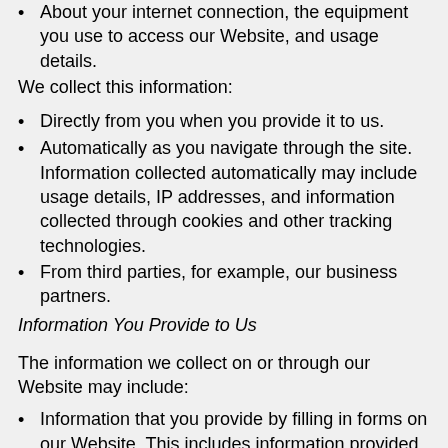About your internet connection, the equipment you use to access our Website, and usage details.
We collect this information:
Directly from you when you provide it to us.
Automatically as you navigate through the site. Information collected automatically may include usage details, IP addresses, and information collected through cookies and other tracking technologies.
From third parties, for example, our business partners.
Information You Provide to Us
The information we collect on or through our Website may include:
Information that you provide by filling in forms on our Website. This includes information provided at the time of registering to use our